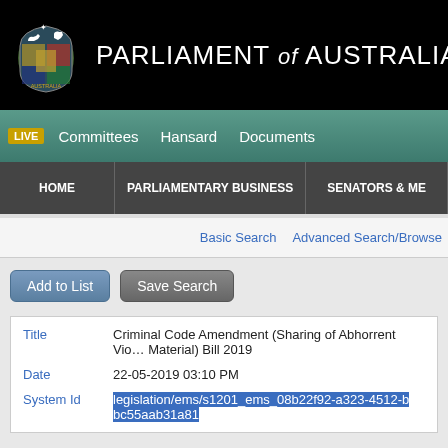[Figure (logo): Parliament of Australia coat of arms logo with white kangaroo and emu on black background]
PARLIAMENT of AUSTRALIA
LIVE  Committees  Hansard  Documents
HOME  PARLIAMENTARY BUSINESS  SENATORS & ME
Basic Search  Advanced Search/Browse
Add to List  Save Search
Title: Criminal Code Amendment (Sharing of Abhorrent Violent Material) Bill 2019
Date: 22-05-2019 03:10 PM
System Id: legislation/ems/s1201_ems_08b22f92-a323-4512-b bc55aab31a81